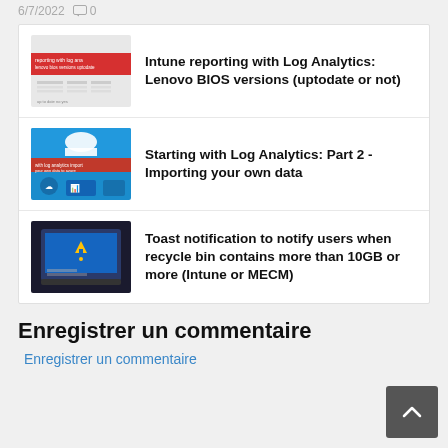6/7/2022   0
[Figure (screenshot): Thumbnail image for Intune reporting with Log Analytics article – red banner with white text and table data]
Intune reporting with Log Analytics: Lenovo BIOS versions (uptodate or not)
[Figure (screenshot): Thumbnail image for Starting with Log Analytics Part 2 article – blue background with cloud icon and red banner]
Starting with Log Analytics: Part 2 - Importing your own data
[Figure (screenshot): Thumbnail image for Toast notification article – dark laptop screen with warning triangle icon]
Toast notification to notify users when recycle bin contains more than 10GB or more (Intune or MECM)
Enregistrer un commentaire
Enregistrer un commentaire